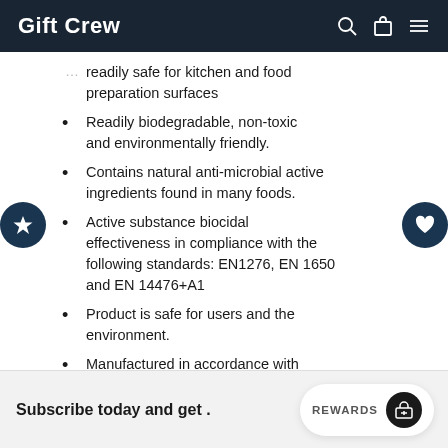Gift Crew
...readily safe for kitchen and food preparation surfaces
Readily biodegradable, non-toxic and environmentally friendly.
Contains natural anti-microbial active ingredients found in many foods.
Active substance biocidal effectiveness in compliance with the following standards: EN1276, EN 1650 and EN 14476+A1
Product is safe for users and the environment.
Manufactured in accordance with recognised international standards, ISO 9001 and ISO 14001.
Subscribe today and get .